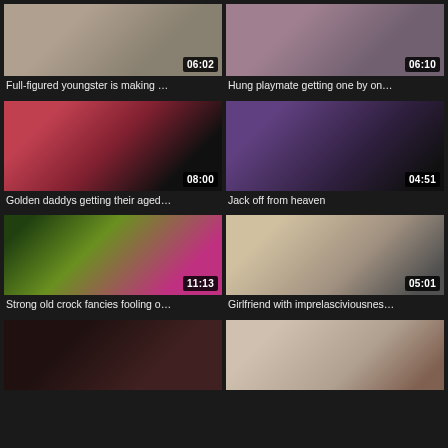[Figure (screenshot): Video thumbnail grid item 1 with duration 06:02]
Full-figured youngster is making …
[Figure (screenshot): Video thumbnail grid item 2 with duration 06:10]
Hung playmate getting one by on…
[Figure (screenshot): Video thumbnail grid item 3 with duration 08:00]
Golden daddys getting their aged…
[Figure (screenshot): Video thumbnail grid item 4 with duration 04:51]
Jack off from heaven
[Figure (screenshot): Video thumbnail grid item 5 with duration 11:13]
Strong old crock fancies fooling o…
[Figure (screenshot): Video thumbnail grid item 6 with duration 05:01]
Girlfriend with imprelasciviousnes…
[Figure (screenshot): Video thumbnail grid item 7 (no duration visible)]
[Figure (screenshot): Video thumbnail grid item 8 (no duration visible)]